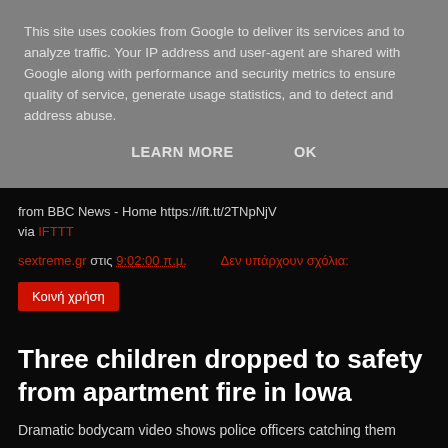This site uses cookies from Google to deliver its services and to analyze traffic. Your IP address and user-agent are shared with Google along with performance and security metrics to ensure quality of service, generate usage statistics, and to detect and address abuse.
LEARN MORE    OK
from BBC News - Home https://ift.tt/2TNpNjV
via IFTTT
sextreme.gr στις 9:02:00 π.μ.    Δεν υπάρχουν σχόλια:
Κοινή χρήση
Three children dropped to safety from apartment fire in Iowa
Dramatic bodycam video shows police officers catching them